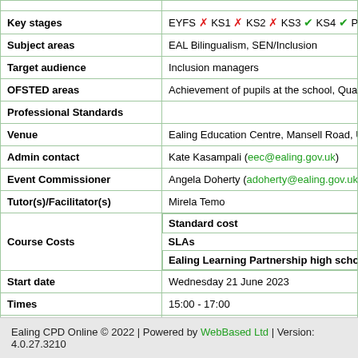| Field | Value |
| --- | --- |
| Key stages | EYFS ✗ KS1 ✗ KS2 ✗ KS3 ✓ KS4 ✓ Po... |
| Subject areas | EAL Bilingualism, SEN/Inclusion |
| Target audience | Inclusion managers |
| OFSTED areas | Achievement of pupils at the school, Quality of tea... |
| Professional Standards |  |
| Venue | Ealing Education Centre, Mansell Road, UB6 9EH ... |
| Admin contact | Kate Kasampali (eec@ealing.gov.uk) |
| Event Commissioner | Angela Doherty (adoherty@ealing.gov.uk) |
| Tutor(s)/Facilitator(s) | Mirela Temo |
| Course Costs | Standard cost / SLAs / Ealing Learning Partnership high school SLA |
| Start date | Wednesday 21 June 2023 |
| Times | 15:00 - 17:00 |
| Number of sessions | 1 |
Ealing CPD Online © 2022 | Powered by WebBased Ltd | Version: 4.0.27.3210